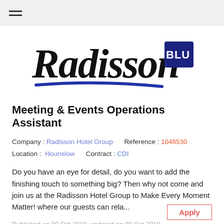☰ (hamburger menu)
[Figure (logo): Radisson Blu logo — large cursive black 'Radisson' text with a blue underline swoosh, and a dark blue square 'BLU' badge to the right]
Meeting & Events Operations Assistant
Company : Radisson Hotel Group   Reference : 1048530
Location :  Hounslow          Contract : CDI
Do you have an eye for detail, do you want to add the finishing touch to something big? Then why not come and join us at the Radisson Hotel Group to Make Every Moment Matter! where our guests can rela...
Published on 08 Oct 2019, updated on 08 Oct 2019